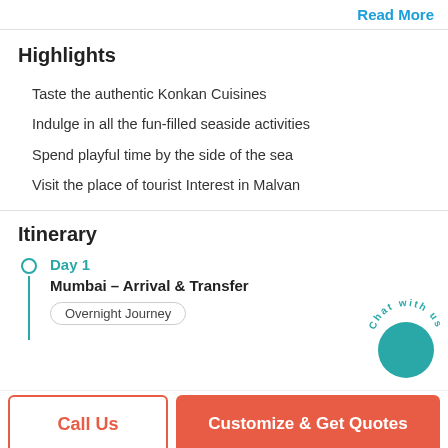Read More
Highlights
Taste the authentic Konkan Cuisines
Indulge in all the fun-filled seaside activities
Spend playful time by the side of the sea
Visit the place of tourist Interest in Malvan
Itinerary
Day 1
Mumbai – Arrival & Transfer
Overnight Journey
[Figure (illustration): Chat with us circular button with teal background and arc text]
Call Us
Customize & Get Quotes